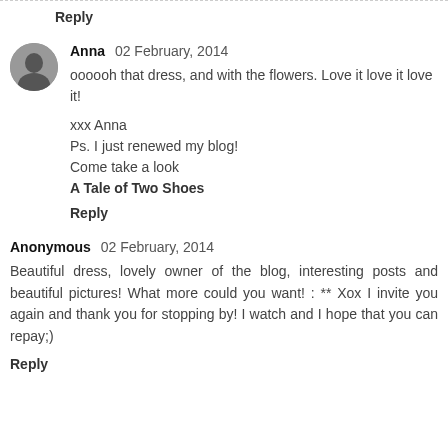Reply
Anna  02 February, 2014
oooooh that dress, and with the flowers. Love it love it love it!
xxx Anna
Ps. I just renewed my blog!
Come take a look
A Tale of Two Shoes
Reply
Anonymous  02 February, 2014
Beautiful dress, lovely owner of the blog, interesting posts and beautiful pictures! What more could you want! : ** Xox I invite you again and thank you for stopping by! I watch and I hope that you can repay;)
Reply